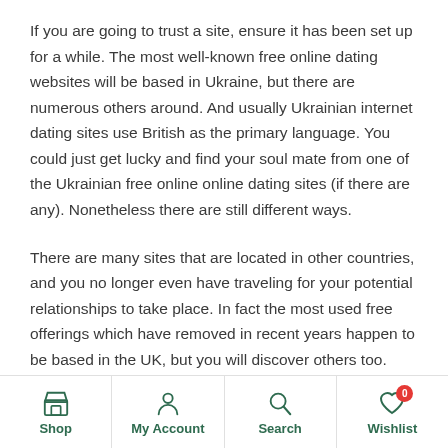If you are going to trust a site, ensure it has been set up for a while. The most well-known free online dating websites will be based in Ukraine, but there are numerous others around. And usually Ukrainian internet dating sites use British as the primary language. You could just get lucky and find your soul mate from one of the Ukrainian free online online dating sites (if there are any). Nonetheless there are still different ways.
There are many sites that are located in other countries, and you no longer even have traveling for your potential relationships to take place. In fact the most used free offerings which have removed in recent years happen to be based in the UK, but you will discover others too. With all the potential
Shop | My Account | Search | Wishlist